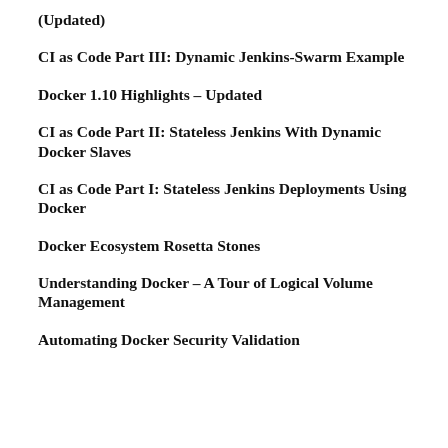(Updated)
CI as Code Part III: Dynamic Jenkins-Swarm Example
Docker 1.10 Highlights – Updated
CI as Code Part II: Stateless Jenkins With Dynamic Docker Slaves
CI as Code Part I: Stateless Jenkins Deployments Using Docker
Docker Ecosystem Rosetta Stones
Understanding Docker – A Tour of Logical Volume Management
Automating Docker Security Validation